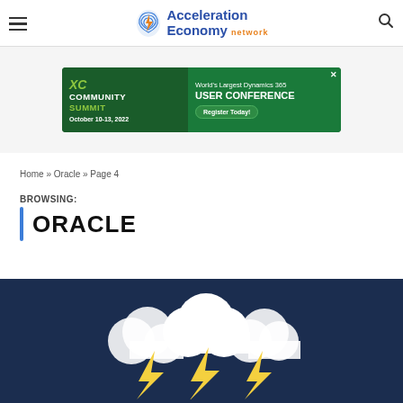Acceleration Economy network
[Figure (screenshot): Community Summit advertisement banner: World's Largest Dynamics 365 USER CONFERENCE, October 10-13, 2022. Register Today!]
Home » Oracle » Page 4
BROWSING:
ORACLE
[Figure (illustration): Dark navy blue background with white cloud illustration and three yellow lightning bolt icons]